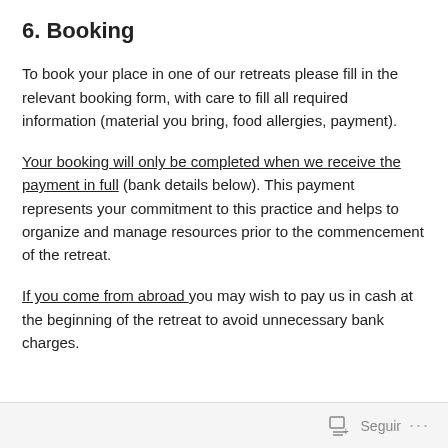6. Booking
To book your place in one of our retreats please fill in the relevant booking form, with care to fill all required information (material you bring, food allergies, payment).
Your booking will only be completed when we receive the payment in full (bank details below). This payment represents your commitment to this practice and helps to organize and manage resources prior to the commencement of the retreat.
If you come from abroad you may wish to pay us in cash at the beginning of the retreat to avoid unnecessary bank charges.
Seguir ...